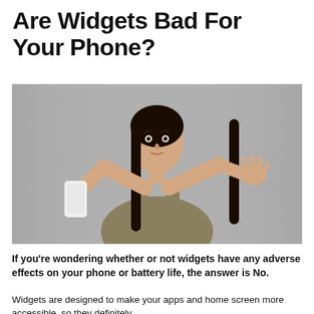Are Widgets Bad For Your Phone?
[Figure (photo): Young woman with long dark hair wearing a grey tank top, shrugging with both arms raised, holding a white smartphone in her left hand, against a grey background]
If you're wondering whether or not widgets have any adverse effects on your phone or battery life, the answer is No.
Widgets are designed to make your apps and home screen more accessible, so they definitely